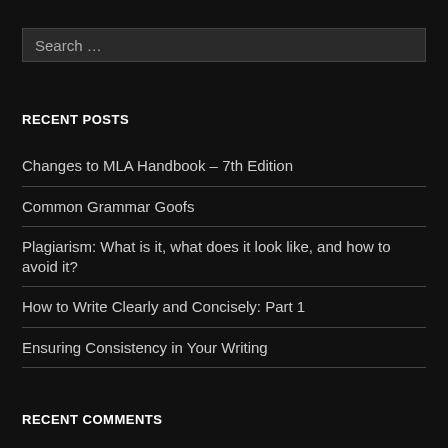Search …
RECENT POSTS
Changes to MLA Handbook – 7th Edition
Common Grammar Goofs
Plagiarism: What is it, what does it look like, and how to avoid it?
How to Write Clearly and Concisely: Part 1
Ensuring Consistency in Your Writing
RECENT COMMENTS